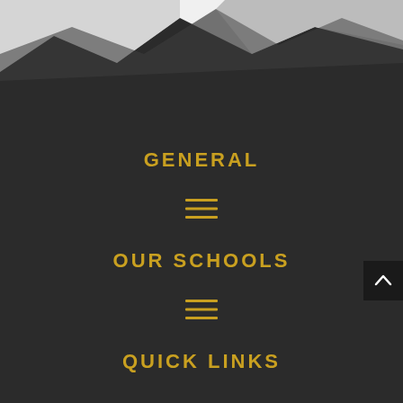[Figure (illustration): Dark polygonal mountain/geometric background shapes in dark charcoal and grey tones at the top of the page]
GENERAL
[Figure (other): Hamburger menu icon — three horizontal gold lines]
OUR SCHOOLS
[Figure (other): Hamburger menu icon — three horizontal gold lines]
QUICK LINKS